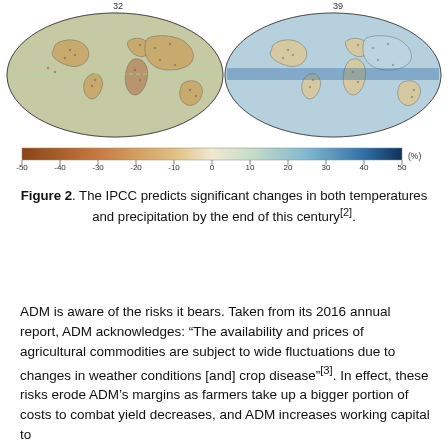[Figure (map): Two world maps showing IPCC projected changes in temperatures and precipitation. Left map labeled 32, right map labeled 39. A color scale bar below ranges from -50 to 50 (%) with brown tones on the negative side and blue tones on the positive side.]
Figure 2. The IPCC predicts significant changes in both temperatures and precipitation by the end of this century[2].
ADM is aware of the risks it bears. Taken from its 2016 annual report, ADM acknowledges: “The availability and prices of agricultural commodities are subject to wide fluctuations due to changes in weather conditions [and] crop disease”[3]. In effect, these risks erode ADM’s margins as farmers take up a bigger portion of costs to combat yield decreases, and ADM increases working capital to